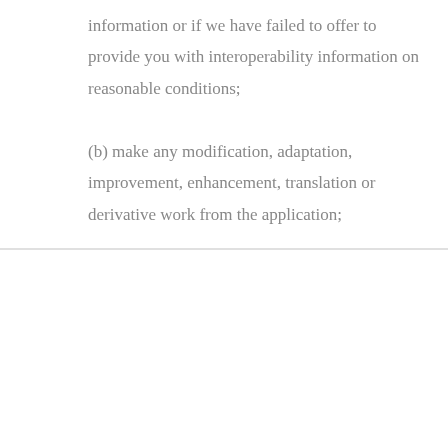information or if we have failed to offer to provide you with interoperability information on reasonable conditions;
(b) make any modification, adaptation, improvement, enhancement, translation or derivative work from the application;
We use cookies and similar technologies to enable services and functionality on our site and to understand your interaction with our service. By clicking on accept, you agree to our use of such technologies for marketing and analytics. See Privacy Policy
Decline All
Accept
Cookie Settings